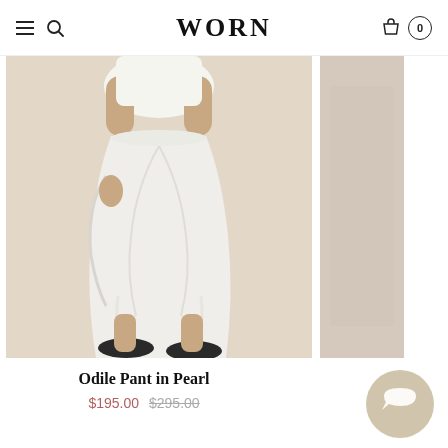WORN
[Figure (photo): Model wearing white draped pants (Odile Pant in Pearl) with black flats, standing against a warm beige background. A secondary cropped image panel is visible to the right showing a beige close-up.]
Odile Pant in Pearl
$195.00 $295.00